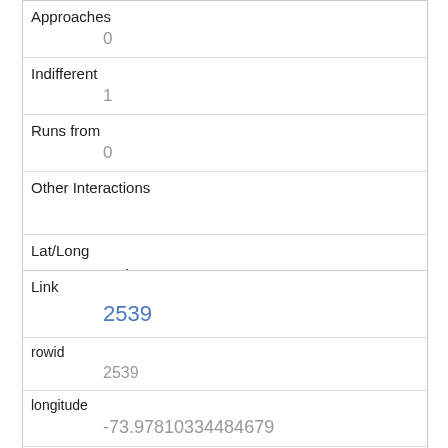| Approaches | 0 |
| Indifferent | 1 |
| Runs from | 0 |
| Other Interactions |  |
| Lat/Long | POINT (-73.9777206733344 40.7668595585487) |
| Link | 2539 |
| rowid | 2539 |
| longitude | -73.97810334484679 |
| latitude | 40.766672406621296 |
| Unique Squirrel ID |  |